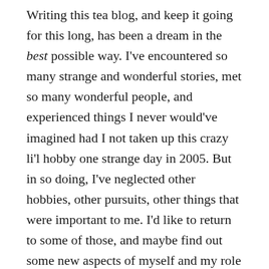Writing this tea blog, and keep it going for this long, has been a dream in the best possible way. I've encountered so many strange and wonderful stories, met so many wonderful people, and experienced things I never would've imagined had I not taken up this crazy li'l hobby one strange day in 2005. But in so doing, I've neglected other hobbies, other pursuits, other things that were important to me. I'd like to return to some of those, and maybe find out some new aspects of myself and my role in the world at large.
Tea will be there, in some way.
As I write this, I decided to dive into a sample I received almost eight years ago. An aged Oriental Beauty, and by the Butiki Tea. The...